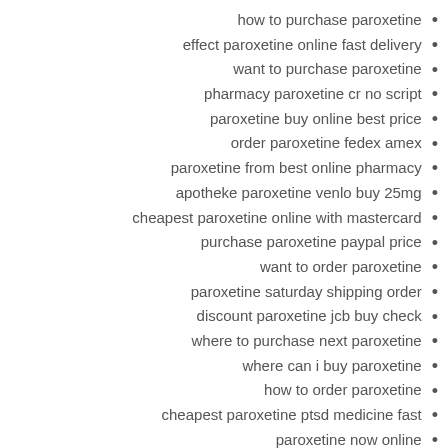how to purchase paroxetine
effect paroxetine online fast delivery
want to purchase paroxetine
pharmacy paroxetine cr no script
paroxetine buy online best price
order paroxetine fedex amex
paroxetine from best online pharmacy
apotheke paroxetine venlo buy 25mg
cheapest paroxetine online with mastercard
purchase paroxetine paypal price
want to order paroxetine
paroxetine saturday shipping order
discount paroxetine jcb buy check
where to purchase next paroxetine
where can i buy paroxetine
how to order paroxetine
cheapest paroxetine ptsd medicine fast
paroxetine now online
where to order next paroxetine